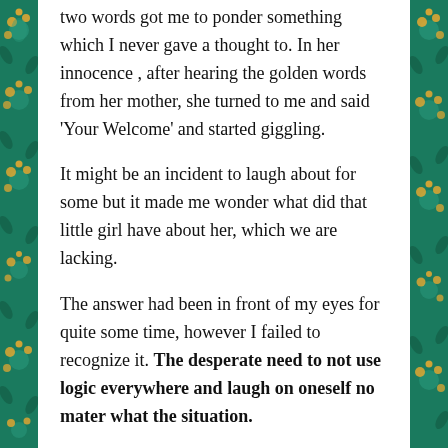two words got me to ponder something which I never gave a thought to. In her innocence , after hearing the golden words from her mother, she turned to me and said 'Your Welcome' and started giggling.
It might be an incident to laugh about for some but it made me wonder what did that little girl have about her, which we are lacking.
The answer had been in front of my eyes for quite some time, however I failed to recognize it. The desperate need to not use logic everywhere and laugh on oneself no mater what the situation.
I believe as we continue our journey in the 'Forest of Age', we protect our curious eyes with spectacles of boundaries. Later as we grow, these